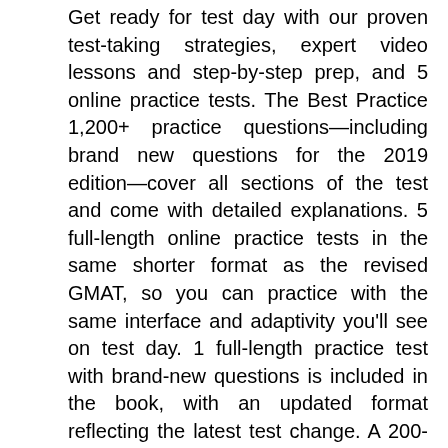Get ready for test day with our proven test-taking strategies, expert video lessons and step-by-step prep, and 5 online practice tests. The Best Practice 1,200+ practice questions—including brand new questions for the 2019 edition—cover all sections of the test and come with detailed explanations. 5 full-length online practice tests in the same shorter format as the revised GMAT, so you can practice with the same interface and adaptivity you'll see on test day. 1 full-length practice test with brand-new questions is included in the book, with an updated format reflecting the latest test change. A 200-question online Quiz Bank lets you select problems by topic so you can customize your practice. Questions have been reviewed, revised, and updated Kaplan's expert teachers. Expert Guidance 1-on-1 academic support from Kaplan faculty on our Facebook